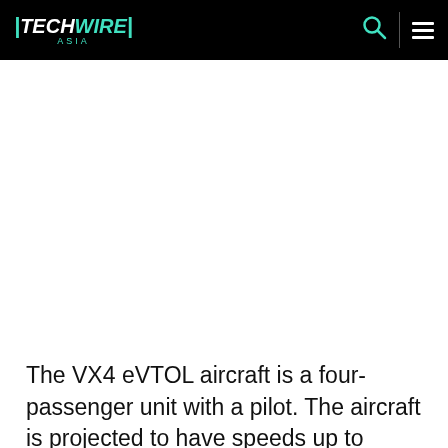|TECHWIRE| ASIA
The VX4 eVTOL aircraft is a four-passenger unit with a pilot. The aircraft is projected to have speeds up to